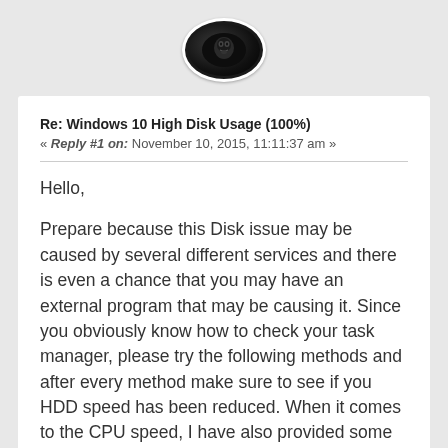[Figure (illustration): Oval avatar image with dark background showing a lion or animal face, white border, on gray background]
Re: Windows 10 High Disk Usage (100%)
« Reply #1 on: November 10, 2015, 11:11:37 am »
Hello,

Prepare because this Disk issue may be caused by several different services and there is even a chance that you may have an external program that may be causing it. Since you obviously know how to check your task manager, please try the following methods and after every method make sure to see if you HDD speed has been reduced. When it comes to the CPU speed, I have also provided some information below.